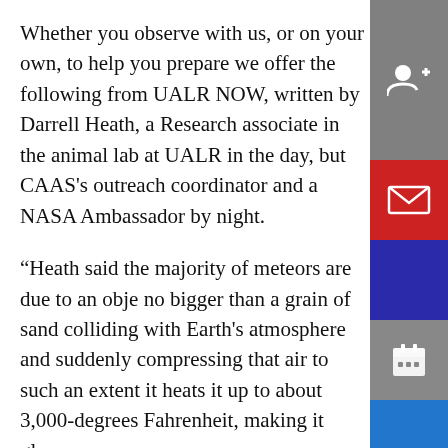Whether you observe with us, or on your own, to help you prepare we offer the following from UALR NOW, written by Darrell Heath, a Research associate in the animal lab at UALR in the day, but CAAS's outreach coordinator and a NASA Ambassador by night.
“Heath said the majority of meteors are due to an object no bigger than a grain of sand colliding with Earth’s atmosphere and suddenly compressing that air to such an extent it heats it up to about 3,000-degrees Fahrenheit, making it glow.
Meteor matter hitting the atmosphere comes from comets, remnant building material billions of years old that went into making our solar system.
The Perseid showers are especially known for producing fireballs that are ten to have open...